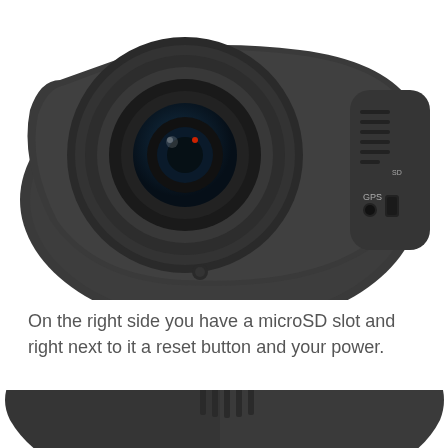[Figure (photo): Close-up photo of a dashcam (dash camera) showing the lens on the left and the right side panel with GPS port, microSD slot, and other connectors on a dark grey body, viewed from a slight angle, on white background.]
On the right side you have a microSD slot and right next to it a reset button and your power.
[Figure (photo): Partial close-up photo of the dashcam showing the camera lens from the side/rear angle, cropped at the bottom of the page. A blue scroll-up button with an upward arrow is visible in the lower right area.]